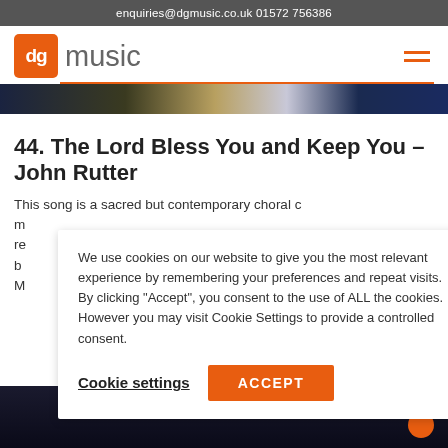enquiries@dgmusic.co.uk    01572 756386
[Figure (logo): dg music logo — orange square with 'dg' in white text, followed by 'music' in grey]
[Figure (photo): Hero banner image strip showing blurred choral/music scene]
44. The Lord Bless You and Keep You – John Rutter
This song is a sacred but contemporary choral c... m... re... b... M...
We use cookies on our website to give you the most relevant experience by remembering your preferences and repeat visits. By clicking "Accept", you consent to the use of ALL the cookies. However you may visit Cookie Settings to provide a controlled consent.
Cookie settings    ACCEPT
[Figure (photo): Bottom portion of page showing dark concert/choral photo]